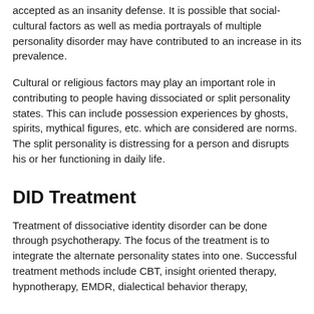accepted as an insanity defense. It is possible that social-cultural factors as well as media portrayals of multiple personality disorder may have contributed to an increase in its prevalence.
Cultural or religious factors may play an important role in contributing to people having dissociated or split personality states. This can include possession experiences by ghosts, spirits, mythical figures, etc. which are considered are norms. The split personality is distressing for a person and disrupts his or her functioning in daily life.
DID Treatment
Treatment of dissociative identity disorder can be done through psychotherapy. The focus of the treatment is to integrate the alternate personality states into one. Successful treatment methods include CBT, insight oriented therapy, hypnotherapy, EMDR, dialectical behavior therapy,